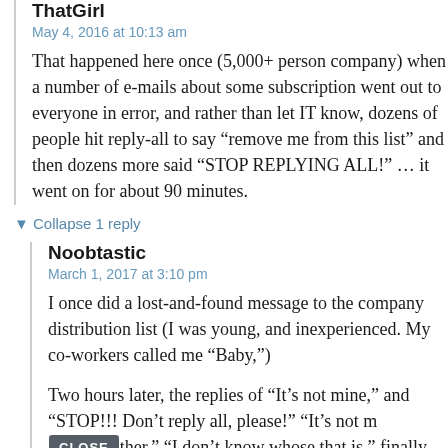ThatGirl
May 4, 2016 at 10:13 am
That happened here once (5,000+ person company) when a number of e-mails about some subscription went out to everyone in error, and rather than let IT know, dozens of people hit reply-all to say “remove me from this list” and then dozens more said “STOP REPLYING ALL!” … it went on for about 90 minutes.
▼ Collapse 1 reply
Noobtastic
March 1, 2017 at 3:10 pm
I once did a lost-and-found message to the company distribution list (I was young, and inexperienced. My co-workers called me “Baby,”)
Two hours later, the replies of “It’s not mine,” and “STOP!!! Don’t reply all, please!” “It’s not [CLOSE] ther.” “I don’t know whose that is,” finally trickled to a close, after one of the big wigs send an emails to all, saying, “If it isn’t yours, don’t reply. Only reply if you think it might